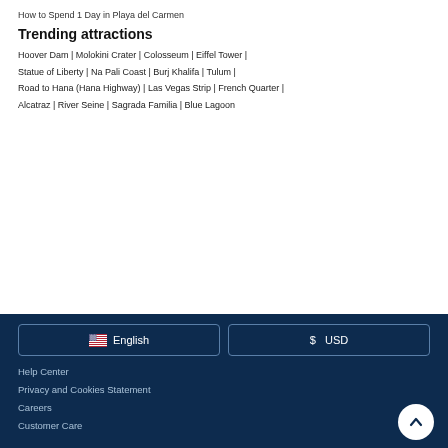How to Spend 1 Day in Playa del Carmen
Trending attractions
Hoover Dam | Molokini Crater | Colosseum | Eiffel Tower | Statue of Liberty | Na Pali Coast | Burj Khalifa | Tulum | Road to Hana (Hana Highway) | Las Vegas Strip | French Quarter | Alcatraz | River Seine | Sagrada Familia | Blue Lagoon
English
$ USD
Help Center
Privacy and Cookies Statement
Careers
Customer Care